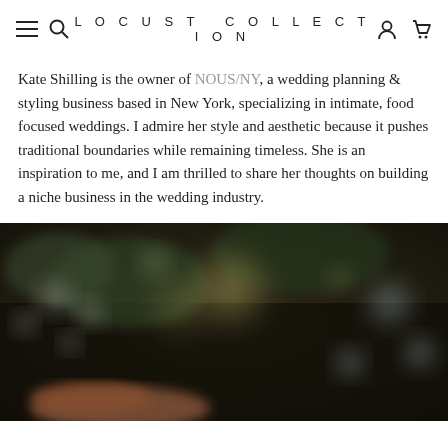LOCUST COLLECTION
Kate Shilling is the owner of NOUS/NY, a wedding planning & styling business based in New York, specializing in intimate, food focused weddings. I admire her style and aesthetic because it pushes traditional boundaries while remaining timeless. She is an inspiration to me, and I am thrilled to share her thoughts on building a niche business in the wedding industry.
[Figure (photo): Blurred bokeh photo of a food or floral arrangement at a wedding, dark moody tones with green foliage and warm light bokeh circles, a hand visible in the lower portion]